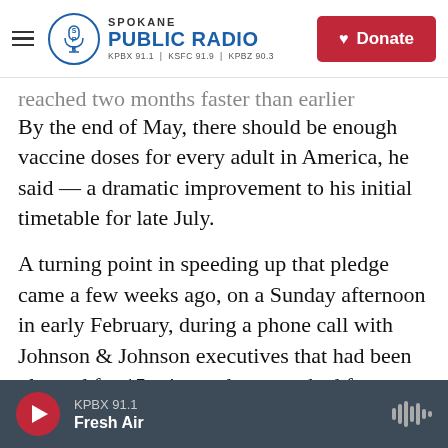Spokane Public Radio — KPBX 91.1 | KSFC 91.9 | KPBZ 90.3 — Donate
reached two months faster than earlier projected. By the end of May, there should be enough vaccine doses for every adult in America, he said — a dramatic improvement to his initial timetable for late July.
A turning point in speeding up that pledge came a few weeks ago, on a Sunday afternoon in early February, during a phone call with Johnson & Johnson executives that had been planned for 15 minutes but stretched for longer than an hour, two senior administration officials told NPR.
Biden administration officials had been pushing
KPBX 91.1 — Fresh Air